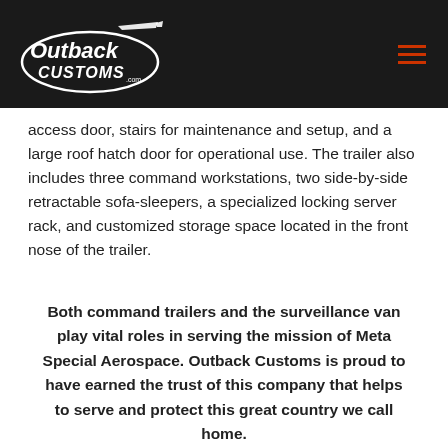Outback Customs
access door, stairs for maintenance and setup, and a large roof hatch door for operational use. The trailer also includes three command workstations, two side-by-side retractable sofa-sleepers, a specialized locking server rack, and customized storage space located in the front nose of the trailer.
Both command trailers and the surveillance van play vital roles in serving the mission of Meta Special Aerospace. Outback Customs is proud to have earned the trust of this company that helps to serve and protect this great country we call home.